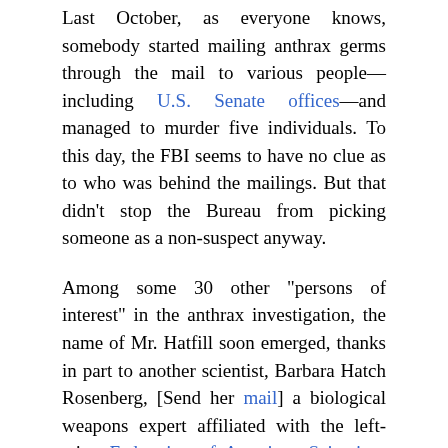Last October, as everyone knows, somebody started mailing anthrax germs through the mail to various people—including U.S. Senate offices—and managed to murder five individuals. To this day, the FBI seems to have no clue as to who was behind the mailings. But that didn't stop the Bureau from picking someone as a non-suspect anyway.
Among some 30 other "persons of interest" in the anthrax investigation, the name of Mr. Hatfill soon emerged, thanks in part to another scientist, Barbara Hatch Rosenberg, [Send her mail] a biological weapons expert affiliated with the left-wing Federation of American Scientists. Miss Rosenberg supposedly kept pointing to Mr. Hatfill as a suspect, and finally the FBI, with no better clue, decided to take a hard look at him.
Mr. Hatfill co-operated with the Bureau, voluntarily giving them an interview last January and taking a lie